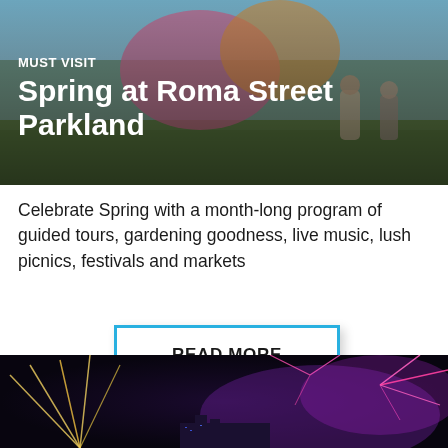[Figure (photo): Outdoor festival scene with performers on stage, colorful decorations, crowd, blue sky background]
MUST VISIT
Spring at Roma Street Parkland
Celebrate Spring with a month-long program of guided tours, gardening goodness, live music, lush picnics, festivals and markets
READ MORE
[Figure (photo): Night fireworks display over a city skyline, pink and gold fireworks against dark sky]